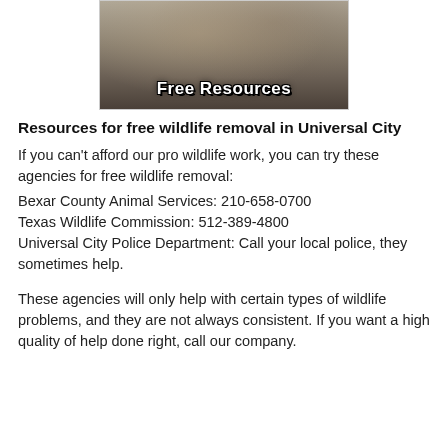[Figure (photo): Photo of wildlife officers/police in uniform with text overlay 'Free Resources']
Resources for free wildlife removal in Universal City
If you can't afford our pro wildlife work, you can try these agencies for free wildlife removal:
Bexar County Animal Services: 210-658-0700
Texas Wildlife Commission: 512-389-4800
Universal City Police Department: Call your local police, they sometimes help.
These agencies will only help with certain types of wildlife problems, and they are not always consistent. If you want a high quality of help done right, call our company.